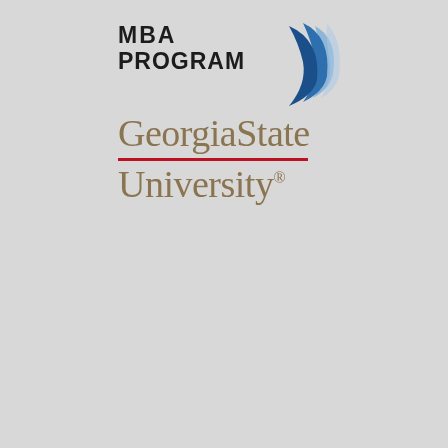[Figure (logo): Georgia State University MBA Program logo. Features bold black text 'MBA PROGRAM' on the left, a blue flame/swoosh icon on the right, and below 'Georgia State' in a tan/brown serif font with a red horizontal rule underneath, followed by 'University.' in the same tan/brown serif font.]